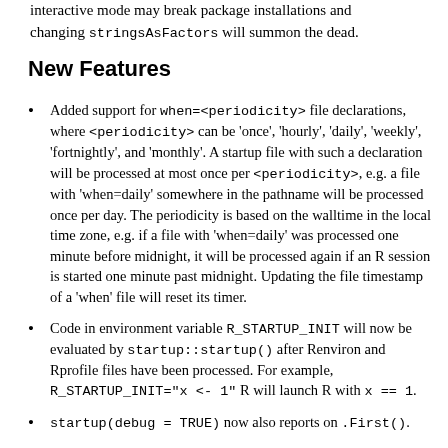interactive mode may break package installations and changing stringsAsFactors will summon the dead.
New Features
Added support for when=<periodicity> file declarations, where <periodicity> can be 'once', 'hourly', 'daily', 'weekly', 'fortnightly', and 'monthly'. A startup file with such a declaration will be processed at most once per <periodicity>, e.g. a file with 'when=daily' somewhere in the pathname will be processed once per day. The periodicity is based on the walltime in the local time zone, e.g. if a file with 'when=daily' was processed one minute before midnight, it will be processed again if an R session is started one minute past midnight. Updating the file timestamp of a 'when' file will reset its timer.
Code in environment variable R_STARTUP_INIT will now be evaluated by startup::startup() after Renviron and Rprofile files have been processed. For example, R_STARTUP_INIT="x <- 1" R will launch R with x == 1.
startup(debug = TRUE) now also reports on .First().
The messages of warnings and errors produced by the